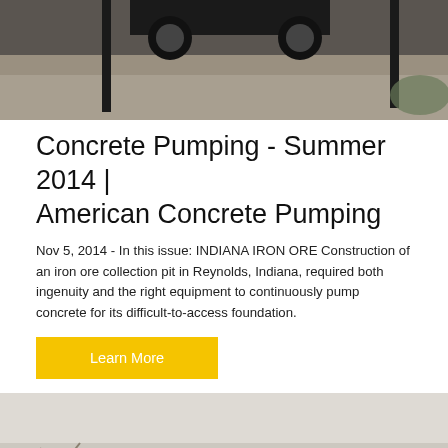[Figure (photo): Top photo showing a vehicle and poles/posts on gravel ground]
Concrete Pumping - Summer 2014 | American Concrete Pumping
Nov 5, 2014 - In this issue: INDIANA IRON ORE Construction of an iron ore collection pit in Reynolds, Indiana, required both ingenuity and the right equipment to continuously pump concrete for its difficult-to-access foundation.
Learn More
[Figure (photo): Bottom photo showing a large industrial steel structure or conveyor building with bare trees in background]